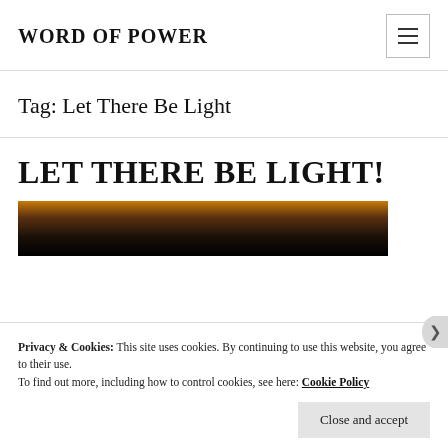WORD OF POWER
Tag: Let There Be Light
LET THERE BE LIGHT!
[Figure (photo): Photograph showing a dramatic sky with warm orange/golden light near the horizon and dark clouds, fading to near-black at the top.]
Privacy & Cookies: This site uses cookies. By continuing to use this website, you agree to their use.
To find out more, including how to control cookies, see here: Cookie Policy
Close and accept